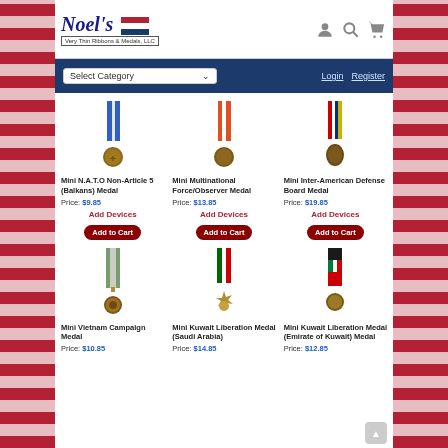[Figure (logo): Noel's Very Thin Ribbons & Medals, LLC logo with Dutch flag]
Select Category | Login | Register
[Figure (photo): Mini N.A.T.O Non-Article 5 (Balkans) Medal - small military medal with blue and white ribbon]
Mini N.A.T.O Non-Article 5 (Balkans) Medal
Price: $9.85
Add Devices
Add to Cart
[Figure (photo): Mini Multinational Force/Observer Medal - small military medal with orange/red and white ribbon]
Mini Multinational Force/Observer Medal
Price: $13.85
Add Devices
Add to Cart
[Figure (photo): Mini Inter-American Defense Board Medal - small military medal with striped ribbon]
Mini Inter-American Defense Board Medal
Price: $19.85
Add Devices
Add to Cart
[Figure (photo): Mini Vietnam Campaign Medal - small military medal with green/white striped ribbon]
Mini Vietnam Campaign Medal
Price: $10.85
[Figure (photo): Mini Kuwait Liberation Medal (Saudi Arabia) - small starburst medal with green and red ribbon]
Mini Kuwait Liberation Medal (Saudi Arabia)
Price: $14.85
[Figure (photo): Mini Kuwait Liberation Medal (Emirate of Kuwait) Medal - small military medal with Kuwait flag ribbon]
Mini Kuwait Liberation Medal (Emirate of Kuwait) Medal
Price: $12.85